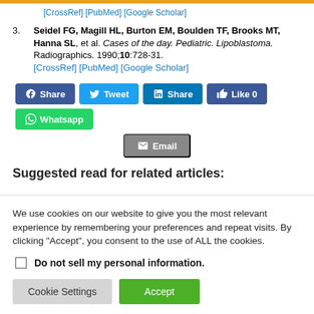[CrossRef] [PubMed] [Google Scholar]
3. Seidel FG, Magill HL, Burton EM, Boulden TF, Brooks MT, Hanna SL, et al. Cases of the day. Pediatric. Lipoblastoma. Radiographics. 1990;10:728-31. [CrossRef] [PubMed] [Google Scholar]
[Figure (screenshot): Social share buttons: Facebook Share, Twitter Tweet, LinkedIn Share, Like 0, Whatsapp, Email]
Suggested read for related articles:
We use cookies on our website to give you the most relevant experience by remembering your preferences and repeat visits. By clicking "Accept", you consent to the use of ALL the cookies.
Do not sell my personal information.
Cookie Settings  Accept